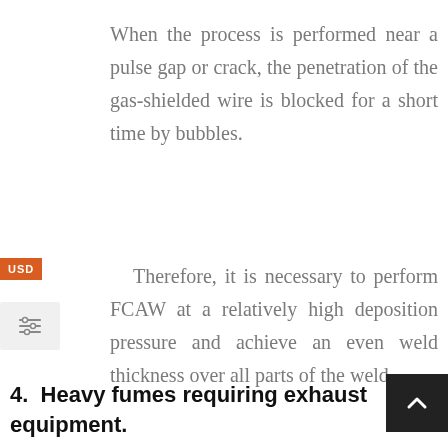When the process is performed near a pulse gap or crack, the penetration of the gas-shielded wire is blocked for a short time by bubbles.
Therefore, it is necessary to perform FCAW at a relatively high deposition pressure and achieve an even weld thickness over all parts of the weld.
4.  Heavy fumes requiring exhaust equipment.